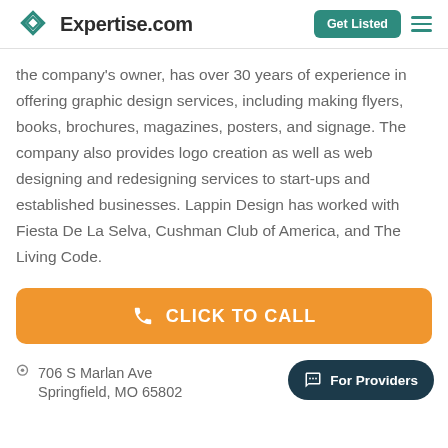Expertise.com | Get Listed
the company's owner, has over 30 years of experience in offering graphic design services, including making flyers, books, brochures, magazines, posters, and signage. The company also provides logo creation as well as web designing and redesigning services to start-ups and established businesses. Lappin Design has worked with Fiesta De La Selva, Cushman Club of America, and The Living Code.
[Figure (other): Orange rounded button with phone icon and text CLICK TO CALL]
706 S Marlan Ave Springfield, MO 65802
[Figure (other): Dark teal rounded pill button with chat icon and text For Providers]